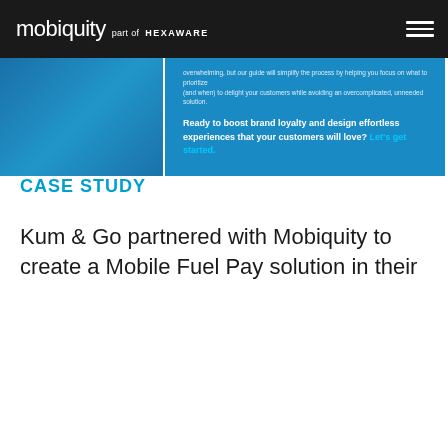mobiquity part of HEXAWARE
[Figure (screenshot): Blue banner with small text about simplifying the process and a call-to-action: 'Ready to boost brand loyalty and design effortless experiences that your customers will love? Let's get started.']
CASE STUDY
Kum & Go partnered with Mobiquity to create a Mobile Fuel Pay solution in their